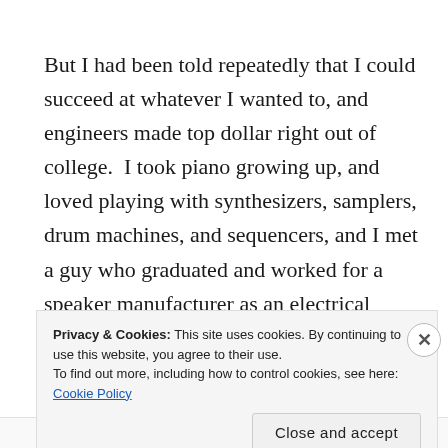But I had been told repeatedly that I could succeed at whatever I wanted to, and engineers made top dollar right out of college.  I took piano growing up, and loved playing with synthesizers, samplers, drum machines, and sequencers, and I met a guy who graduated and worked for a speaker manufacturer as an electrical engineer, so I picked that.  I did well in all subjects, but
Privacy & Cookies: This site uses cookies. By continuing to use this website, you agree to their use.
To find out more, including how to control cookies, see here: Cookie Policy
[Close and accept]